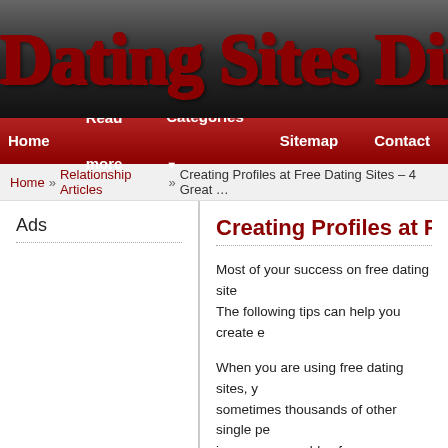Dating Sites Dire...
Home | Read more | Categories | Sitemap | Contact
Home » Relationship Articles » Creating Profiles at Free Dating Sites – 4 Great ...
Ads
Creating Profiles at Free Da...
Most of your success on free dating site... The following tips can help you create e...
When you are using free dating sites, y... sometimes thousands of other single pe... improve your odds of success, you sho... are some strategies that can help you d...